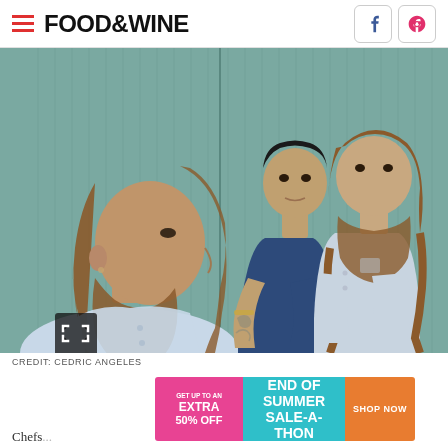FOOD&WINE
[Figure (photo): Two-panel photo: left panel shows a bearded man with long wavy hair in profile wearing a light denim shirt against a teal/green slatted wall background; right panel shows two men standing together against the same teal wall, one in a navy t-shirt with tattoos and one in a light denim shirt with arms crossed, both with long hair and beards.]
CREDIT: CEDRIC ANGELES
[Figure (infographic): Advertisement banner: GET UP TO AN EXTRA 50% OFF END OF SUMMER SALE-A-THON SHOP NOW]
Chefs...